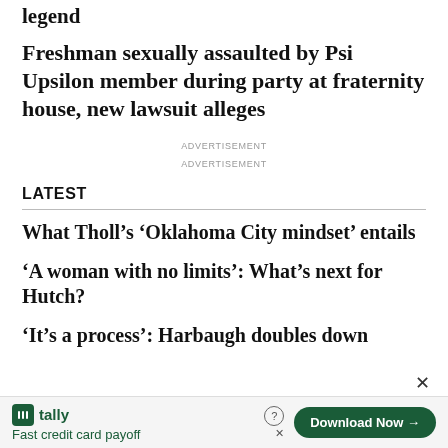legend
Freshman sexually assaulted by Psi Upsilon member during party at fraternity house, new lawsuit alleges
ADVERTISEMENT
ADVERTISEMENT
LATEST
What Tholl’s ‘Oklahoma City mindset’ entails
‘A woman with no limits’: What’s next for Hutch?
‘It’s a process’: Harbaugh doubles down on two-quarterback approach
[Figure (infographic): Tally advertisement banner: Fast credit card payoff with Download Now button]